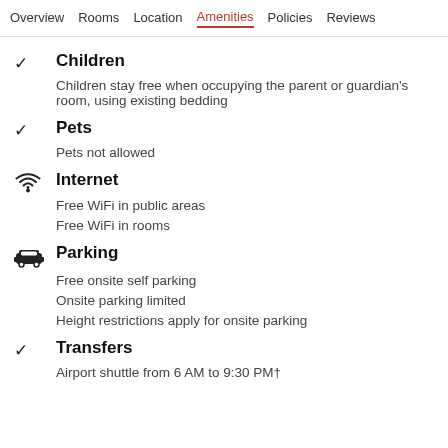Overview  Rooms  Location  Amenities  Policies  Reviews
Children
Children stay free when occupying the parent or guardian's room, using existing bedding
Pets
Pets not allowed
Internet
Free WiFi in public areas
Free WiFi in rooms
Parking
Free onsite self parking
Onsite parking limited
Height restrictions apply for onsite parking
Transfers
Airport shuttle from 6 AM to 9:30 PM†